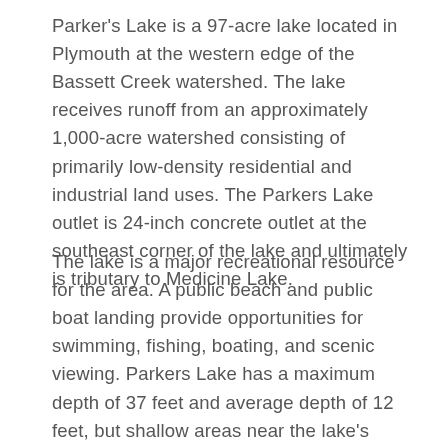Parker's Lake is a 97-acre lake located in Plymouth at the western edge of the Bassett Creek watershed. The lake receives runoff from an approximately 1,000-acre watershed consisting of primarily low-density residential and industrial land uses. The Parkers Lake outlet is 24-inch concrete outlet at the southeast corner of the lake and ultimately is tributary to Medicine Lake.
The lake is a major recreational resource for the area. A public beach and public boat landing provide opportunities for swimming, fishing, boating, and scenic viewing. Parkers Lake has a maximum depth of 37 feet and average depth of 12 feet, but shallow areas near the lake's shoreline allow for both emergent and submerged vegetation growth. The invasive aquatic plant Eurasian watermilfoil is present in the lake. Water quality in Parkers Lake is